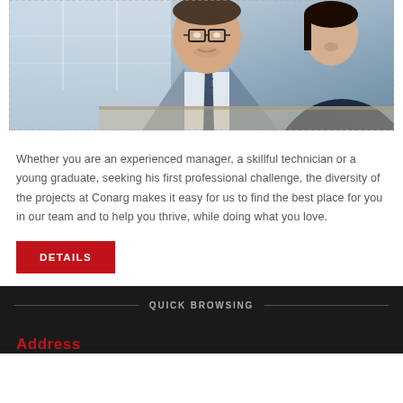[Figure (photo): Two business professionals in office attire, one man in glasses and a striped tie, one woman, looking at documents or a tablet together.]
Whether you are an experienced manager, a skillful technician or a young graduate, seeking his first professional challenge, the diversity of the projects at Conarg makes it easy for us to find the best place for you in our team and to help you thrive, while doing what you love.
DETAILS
QUICK BROWSING
Address